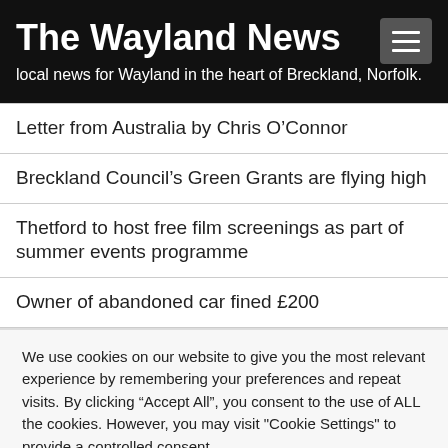The Wayland News
local news for Wayland in the heart of Breckland, Norfolk.
Letter from Australia by Chris O’Connor
Breckland Council’s Green Grants are flying high
Thetford to host free film screenings as part of summer events programme
Owner of abandoned car fined £200
We use cookies on our website to give you the most relevant experience by remembering your preferences and repeat visits. By clicking “Accept All”, you consent to the use of ALL the cookies. However, you may visit "Cookie Settings" to provide a controlled consent.